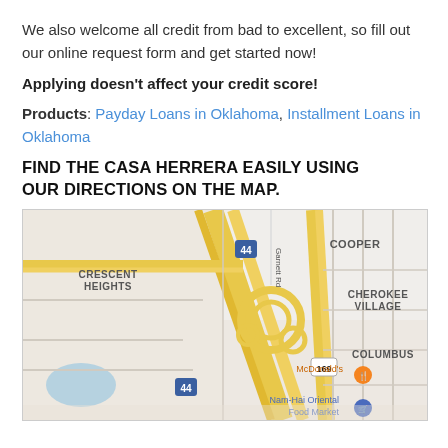We also welcome all credit from bad to excellent, so fill out our online request form and get started now!
Applying doesn't affect your credit score!
Products: Payday Loans in Oklahoma, Installment Loans in Oklahoma
FIND THE CASA HERRERA EASILY USING OUR DIRECTIONS ON THE MAP.
[Figure (map): Google Maps view showing intersection area with Crescent Heights, Cooper, Cherokee Village, Columbus neighborhoods, Highway 44, Route 169, Garnett Rd, McDonald's and Nam-Hai Oriental Food Market]